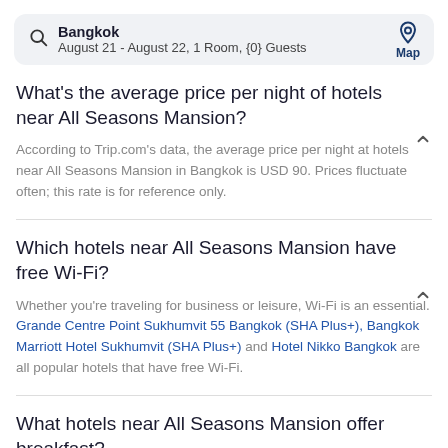Bangkok — August 21 - August 22, 1 Room, {0} Guests
What's the average price per night of hotels near All Seasons Mansion?
According to Trip.com's data, the average price per night at hotels near All Seasons Mansion in Bangkok is USD 90. Prices fluctuate often; this rate is for reference only.
Which hotels near All Seasons Mansion have free Wi-Fi?
Whether you're traveling for business or leisure, Wi-Fi is an essential. Grande Centre Point Sukhumvit 55 Bangkok (SHA Plus+), Bangkok Marriott Hotel Sukhumvit (SHA Plus+) and Hotel Nikko Bangkok are all popular hotels that have free Wi-Fi.
What hotels near All Seasons Mansion offer breakfast?